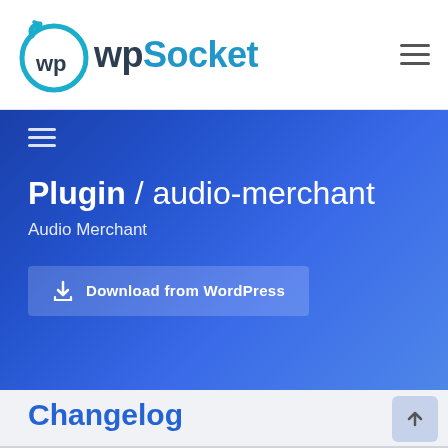wpSocket
[Figure (logo): WPSocket logo with circular arrow icon and teal/dark text]
Plugin / audio-merchant
Audio Merchant
Download from WordPress
Changelog